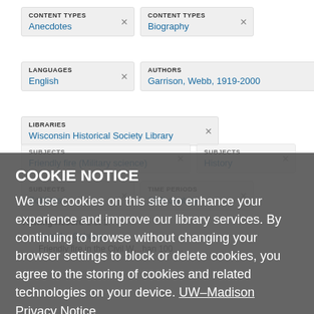CONTENT TYPES | Anecdotes [x]
CONTENT TYPES | Biography [x]
LANGUAGES | English [x]
AUTHORS | Garrison, Webb, 1919-2000 [x]
LIBRARIES | Wisconsin Historical Society Library [x]
SUBJECTS | Friendly fire (Military science) [x]
SUBJECTS | History [x]
SUBJECTS | Soldiers [x]
TIME PERIODS | 19th century [x]
Viewing Record 1 of 1
Search > Catalog >
Friendly fire in the Civil War more than 100 …
COOKIE NOTICE
We use cookies on this site to enhance your experience and improve our library services. By continuing to browse without changing your browser settings to block or delete cookies, you agree to the storing of cookies and related technologies on your device. UW–Madison Privacy Notice
GOT IT!